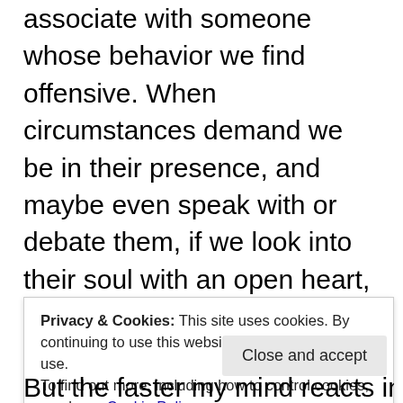associate with someone whose behavior we find offensive. When circumstances demand we be in their presence, and maybe even speak with or debate them, if we look into their soul with an open heart, we will see the light they have dimmed by their negative thoughts and actions. If we look beyond the exterior while at the same time loathing or feeling hurt by the behavior, the effect is astounding. Some indigenous teachers call this the Jaguar Seat – holding two opposing reins while maintaining balance. This is incredibly empowering. We learn that we have a choice in whether or not we want our behavior to be determined by another. We come to know the depth and breadth of our own power to deflect t \ .
Privacy & Cookies: This site uses cookies. By continuing to use this website, you agree to their use. To find out more, including how to control cookies, see here: Cookie Policy
Close and accept
But the faster my mind reacts in wanting to close my